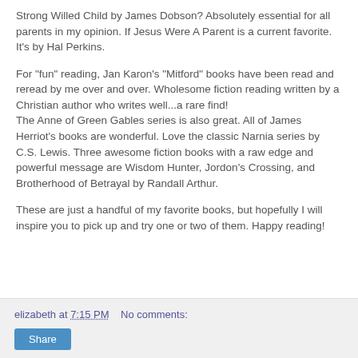Strong Willed Child by James Dobson? Absolutely essential for all parents in my opinion. If Jesus Were A Parent is a current favorite. It's by Hal Perkins.
For "fun" reading, Jan Karon's "Mitford" books have been read and reread by me over and over. Wholesome fiction reading written by a Christian author who writes well...a rare find!
The Anne of Green Gables series is also great. All of James Herriot's books are wonderful. Love the classic Narnia series by C.S. Lewis. Three awesome fiction books with a raw edge and powerful message are Wisdom Hunter, Jordon's Crossing, and Brotherhood of Betrayal by Randall Arthur.
These are just a handful of my favorite books, but hopefully I will inspire you to pick up and try one or two of them. Happy reading!
elizabeth at 7:15 PM   No comments:   Share